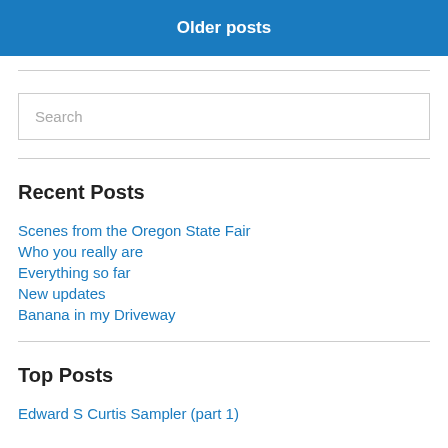Older posts
Recent Posts
Scenes from the Oregon State Fair
Who you really are
Everything so far
New updates
Banana in my Driveway
Top Posts
Edward S Curtis Sampler (part 1)